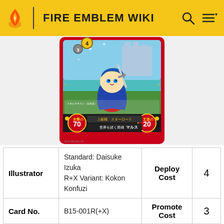FIRE EMBLEM WIKI
[Figure (illustration): Fire Emblem Cipher trading card featuring chibi-style Marth (マルス) character with blue hair holding a sword, wearing blue cape and red armor. Card shows attack power 70, support 20, various Japanese text for skills, title 世界を諸く英雄 (Hero Who Illuminates the World), card number B15-001R(+X).]
| Illustrator | Standard: Daisuke Izuka
R+X Variant: Kokon Konfuzi | Deploy Cost | 4 |
| Card No. | B15-001R(+X) | Promote Cost | 3 |